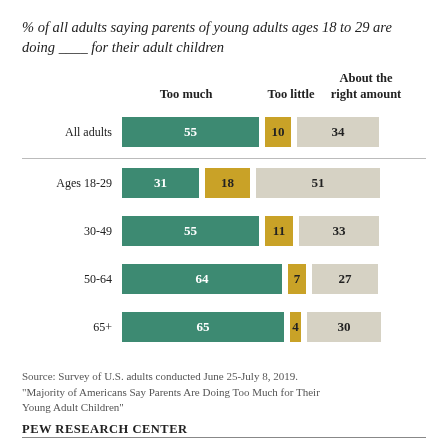% of all adults saying parents of young adults ages 18 to 29 are doing ___ for their adult children
[Figure (grouped-bar-chart): % of all adults saying parents of young adults ages 18 to 29 are doing ___ for their adult children]
Source: Survey of U.S. adults conducted June 25-July 8, 2019. "Majority of Americans Say Parents Are Doing Too Much for Their Young Adult Children"
PEW RESEARCH CENTER